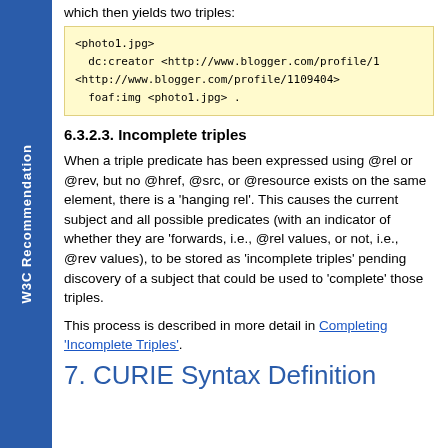W3C Recommendation
which then yields two triples:
<photo1.jpg>
  dc:creator <http://www.blogger.com/profile/1...
<http://www.blogger.com/profile/1109404>
  foaf:img <photo1.jpg> .
6.3.2.3. Incomplete triples
When a triple predicate has been expressed using @rel or @rev, but no @href, @src, or @resource exists on the same element, there is a 'hanging rel'. This causes the current subject and all possible predicates (with an indicator of whether they are 'forwards, i.e., @rel values, or not, i.e., @rev values), to be stored as 'incomplete triples' pending discovery of a subject that could be used to 'complete' those triples.
This process is described in more detail in Completing 'Incomplete Triples'.
7. CURIE Syntax Definition